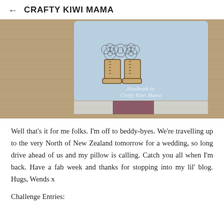← CRAFTY KIWI MAMA
[Figure (photo): A handmade craft card with a light blue card mounted on burlap/kraft paper background, featuring an illustration of boots with lace doily decorations, a watermark reading 'Handmade by Crafty Kiwi Mama', and ribbon strips (silver/metallic and dark pink/mauve) across the bottom.]
Well that's it for me folks. I'm off to beddy-byes. We're travelling up to the very North of New Zealand tomorrow for a wedding, so long drive ahead of us and my pillow is calling. Catch you all when I'm back. Have a fab week and thanks for stopping into my lil' blog. Hugs, Wends x
Challenge Entries: